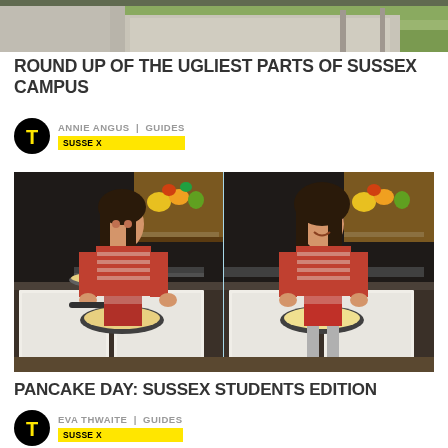[Figure (photo): Top portion of a campus building exterior with grass and pavement visible]
ROUND UP OF THE UGLIEST PARTS OF SUSSEX CAMPUS
ANNIE ANGUS | GUIDES  SUSSEX
[Figure (photo): Two side-by-side photos of a young woman in a red striped top making pancakes in a kitchen, holding a pan with pancake batter]
PANCAKE DAY: SUSSEX STUDENTS EDITION
EVA THWAITE | GUIDES  SUSSEX